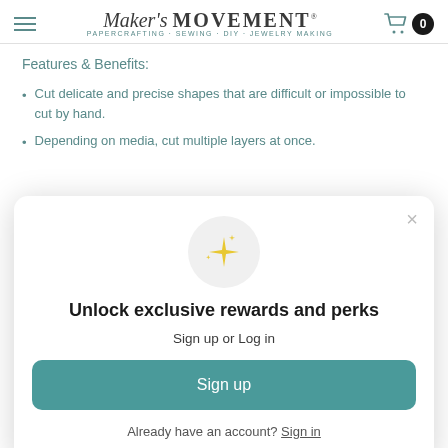Maker's MOVEMENT · PAPERCRAFTING · SEWING · DIY · JEWELRY MAKING
Features & Benefits:
Cut delicate and precise shapes that are difficult or impossible to cut by hand.
Depending on media, cut multiple layers at once.
Unlock exclusive rewards and perks
Sign up or Log in
Sign up
Already have an account? Sign in